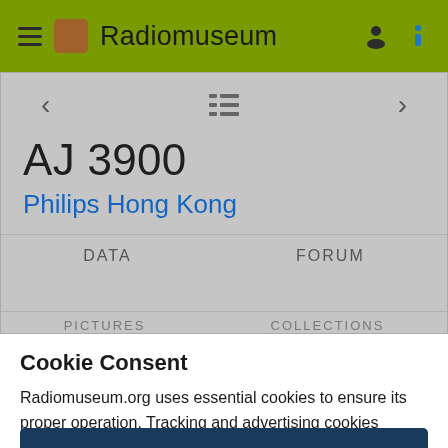Radiomuseum
AJ 3900
Philips Hong Kong
DATA    FORUM
Cookie Consent
Radiomuseum.org uses essential cookies to ensure its proper operation. Tracking and advertising cookies understand how you interact with it. The latter will be set only upon approval. Privacy Policy